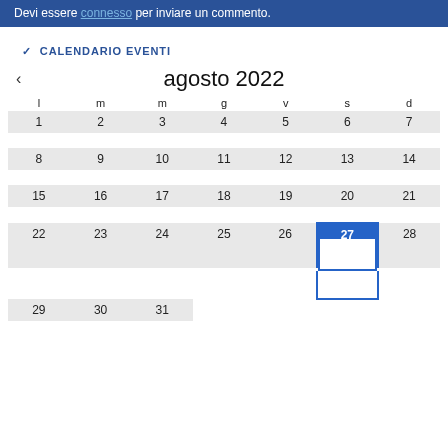Devi essere connesso per inviare un commento.
CALENDARIO EVENTI
| l | m | m | g | v | s | d |
| --- | --- | --- | --- | --- | --- | --- |
| 1 | 2 | 3 | 4 | 5 | 6 | 7 |
| 8 | 9 | 10 | 11 | 12 | 13 | 14 |
| 15 | 16 | 17 | 18 | 19 | 20 | 21 |
| 22 | 23 | 24 | 25 | 26 | 27 | 28 |
| 29 | 30 | 31 |  |  |  |  |